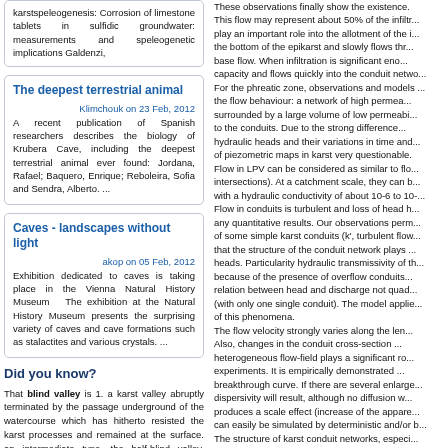karstspeleogenesis: Corrosion of limestone tablets in sulfidic groundwater: measurements and speleogenetic implications Galdenzi,
The deepest terrestrial animal
Klimchouk on 23 Feb, 2012
A recent publication of Spanish researchers describes the biology of Krubera Cave, including the deepest terrestrial animal ever found: Jordana, Rafael; Baquero, Enrique; Reboleira, Sofia and Sendra, Alberto. ...
Caves - landscapes without light
akop on 05 Feb, 2012
Exhibition dedicated to caves is taking place in the Vienna Natural History Museum The exhibition at the Natural History Museum presents the surprising variety of caves and cave formations such as stalactites and various crystals. ...
Did you know?
That blind valley is 1. a karst valley abruptly terminated by the passage underground of the watercourse which has hitherto resisted the karst processes and remained at the surface. an intermediate type, the half-blind valley, exists in which the
These observations finally show the existence. This flow may represent about 50% of the infiltr... play an important role into the allotment of the i... the bottom of the epikarst and slowly flows thr... base flow. When infiltration is significant eno... capacity and flows quickly into the conduit netwo... For the phreatic zone, observations and models ... the flow behaviour: a network of high permea... surrounded by a large volume of low permeabi... to the conduits. Due to the strong difference... hydraulic heads and their variations in time and... of piezometric maps in karst very questionable. Flow in LPV can be considered as similar to flo... intersections). At a catchment scale, they can b... with a hydraulic conductivity of about 10-6 to 10-... Flow in conduits is turbulent and loss of head h... any quantitative results. Our observations perm... of some simple karst conduits (k', turbulent flow... that the structure of the conduit network plays ... heads. Particularity hydraulic transmissivity of th... because of the presence of overflow conduits... relation between head and discharge not quad... (with only one single conduit). The model applie... of this phenomena. The flow velocity strongly varies along the len... Also, changes in the conduit cross-section ... heterogeneous flow-field plays a significant ro... experiments. It is empirically demonstrated ... breakthrough curve. If there are several enlarge... dispersivity will result, although no diffusion w... produces a scale effect (increase of the appare... can easily be simulated by deterministic and/or b... The structure of karst conduit networks, especi... only on the spatial distribution of the hydraulic h... Study of the network geometry is therefore us... further suggest that any hydrogeological study... system should start with a preliminary estim... examples presented show that the geometry of...